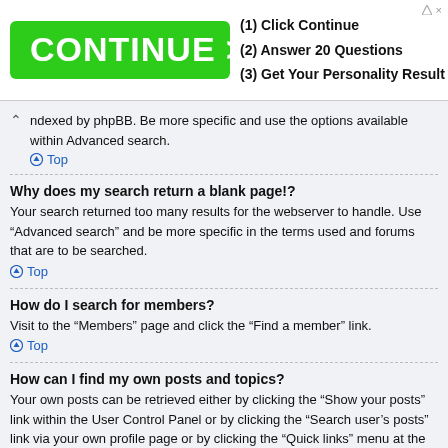[Figure (other): Advertisement banner with green CONTINUE > button and steps: (1) Click Continue, (2) Answer 20 Questions, (3) Get Your Personality Result]
ndexed by phpBB. Be more specific and use the options available within Advanced search.
Top
Why does my search return a blank page!?
Your search returned too many results for the webserver to handle. Use “Advanced search” and be more specific in the terms used and forums that are to be searched.
Top
How do I search for members?
Visit to the “Members” page and click the “Find a member” link.
Top
How can I find my own posts and topics?
Your own posts can be retrieved either by clicking the “Show your posts” link within the User Control Panel or by clicking the “Search user’s posts” link via your own profile page or by clicking the “Quick links” menu at the top of the board. To search for your topics, use the Advanced search page and fill in the various options appropriately.
Top